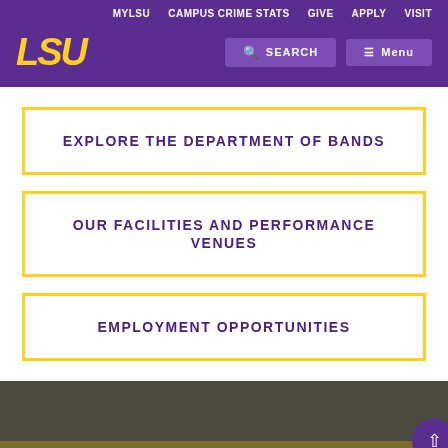MYLSU  CAMPUS CRIME STATS  GIVE  APPLY  VISIT
[Figure (logo): LSU logo in yellow italic bold text on purple background]
EXPLORE THE DEPARTMENT OF BANDS
OUR FACILITIES AND PERFORMANCE VENUES
EMPLOYMENT OPPORTUNITIES
[Figure (logo): LSU logo in yellow italic bold text on gold/brown footer background]
This website uses cookies to ensure site